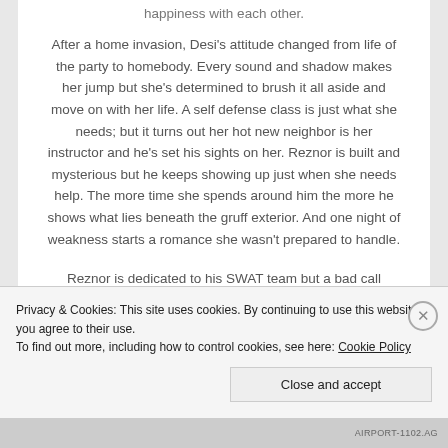happiness with each other.
After a home invasion, Desi's attitude changed from life of the party to homebody. Every sound and shadow makes her jump but she's determined to brush it all aside and move on with her life. A self defense class is just what she needs; but it turns out her hot new neighbor is her instructor and he's set his sights on her. Reznor is built and mysterious but he keeps showing up just when she needs help. The more time she spends around him the more he shows what lies beneath the gruff exterior. And one night of weakness starts a romance she wasn't prepared to handle.
Reznor is dedicated to his SWAT team but a bad call
Privacy & Cookies: This site uses cookies. By continuing to use this website, you agree to their use.
To find out more, including how to control cookies, see here: Cookie Policy
AIRPORT-1102.AG